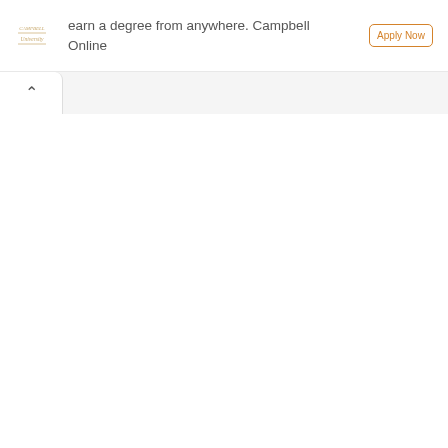[Figure (logo): Campbell University logo mark - small decorative emblem]
earn a degree from anywhere. Campbell Online
[Figure (other): Orange outlined button with text, partially visible]